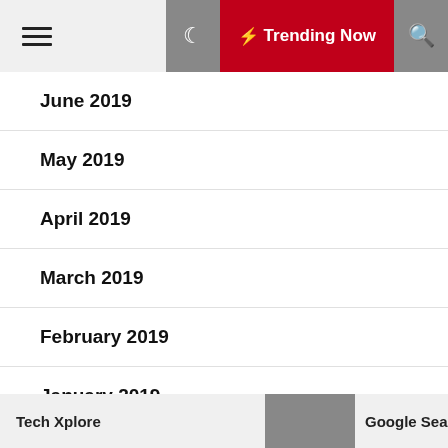Trending Now
June 2019
May 2019
April 2019
March 2019
February 2019
January 2019
December 2018
Tech Xplore  Google Search En…